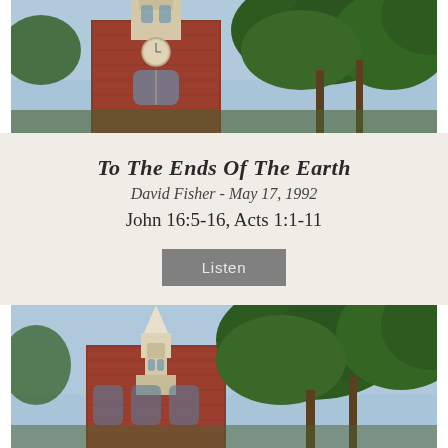[Figure (photo): Photograph of a historic red brick church steeple with white classical details, surrounded by green trees, shot from a low angle against a blue sky.]
To The Ends Of The Earth
David Fisher - May 17, 1992
John 16:5-16, Acts 1:1-11
Listen
[Figure (photo): Photograph of a historic white-steepled church with a pointed spire, surrounded by green trees, shot from a low angle against a blue sky.]